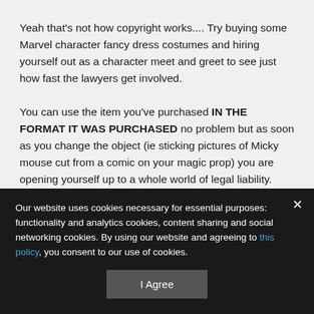Yeah that's not how copyright works.... Try buying some Marvel character fancy dress costumes and hiring yourself out as a character meet and greet to see just how fast the lawyers get involved.
You can use the item you've purchased IN THE FORMAT IT WAS PURCHASED no problem but as soon as you change the object (ie sticking pictures of Micky mouse cut from a comic on your magic prop) you are opening yourself up to a whole world of legal liability. Might you be a small enough infringer to not be noticed… sure, but once you are noticed you have no defence.
Outside of copyright there's also branding / endorsement
Our website uses cookies necessary for essential purposes: functionality and analytics cookies, content sharing and social networking cookies. By using our website and agreeing to this policy, you consent to our use of cookies.